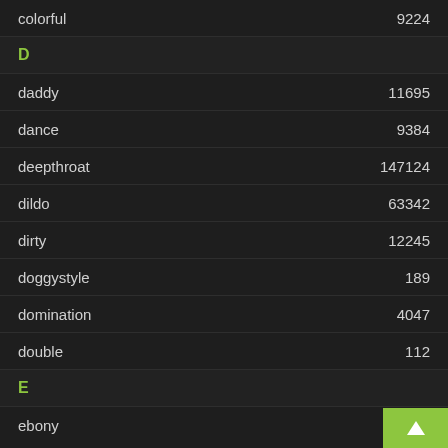| term | count |
| --- | --- |
| colorful | 9224 |
| D |  |
| daddy | 11695 |
| dance | 9384 |
| deepthroat | 147124 |
| dildo | 63342 |
| dirty | 12245 |
| doggystyle | 189 |
| domination | 4047 |
| double | 112 |
| E |  |
| ebony | 27061 |
| erotic | 2315 |
| exotic | 1685 |
| extreme |  |
| F |  |